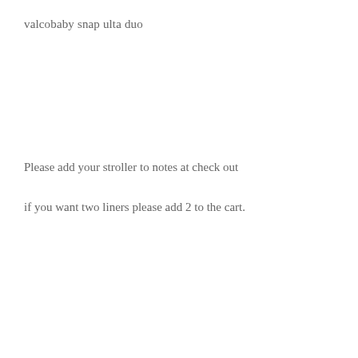valcobaby snap ulta duo
Please add your stroller to notes at check out
if you want two liners please add 2 to the cart.